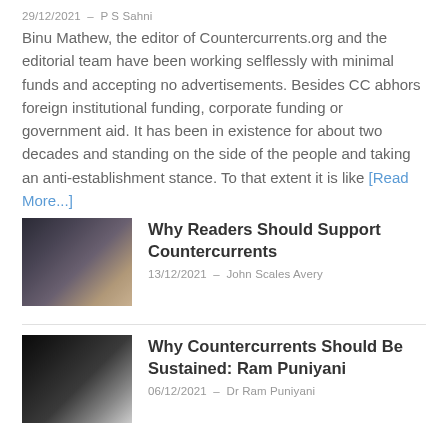29/12/2021 – P S Sahni
Binu Mathew, the editor of Countercurrents.org and the editorial team have been working selflessly with minimal funds and accepting no advertisements. Besides CC abhors foreign institutional funding, corporate funding or government aid. It has been in existence for about two decades and standing on the side of the people and taking an anti-establishment stance. To that extent it is like [Read More...]
[Figure (photo): Photo of a man in a suit at a podium or conference setting]
Why Readers Should Support Countercurrents
13/12/2021 – John Scales Avery
[Figure (photo): Photo of a man with glasses against a dark background]
Why Countercurrents Should Be Sustained: Ram Puniyani
06/12/2021 – Dr Ram Puniyani